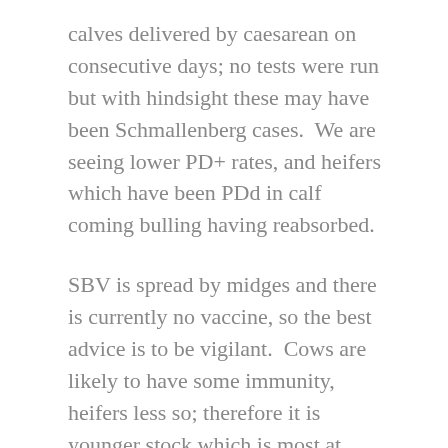calves delivered by caesarean on consecutive days; no tests were run but with hindsight these may have been Schmallenberg cases.  We are seeing lower PD+ rates, and heifers which have been PDd in calf coming bulling having reabsorbed.
SBV is spread by midges and there is currently no vaccine, so the best advice is to be vigilant.  Cows are likely to have some immunity, heifers less so; therefore it is younger stock which is most at risk.  Don't assume PD+ heifers will stay that way – consider repeat PDs and look for bulling – and be prepared for calving difficulties.